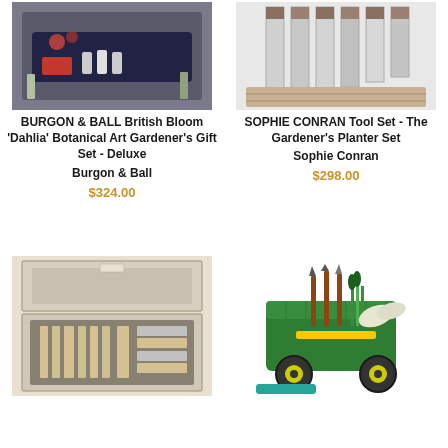[Figure (photo): BURGON & BALL British Bloom Dahlia Botanical Art Gardener's Gift Set product photo showing garden tools in a floral tin]
BURGON & BALL British Bloom 'Dahlia' Botanical Art Gardener's Gift Set - Deluxe
Burgon & Ball
$324.00
[Figure (photo): SOPHIE CONRAN Tool Set - The Gardener's Planter Set product photo showing striped gardening tools]
SOPHIE CONRAN Tool Set - The Gardener's Planter Set
Sophie Conran
$298.00
[Figure (photo): A wooden box opened revealing a set of knives/tools with wooden handles arranged neatly inside]
[Figure (photo): A green wheeled garden caddy/trolley with garden tools, gloves and green onions]